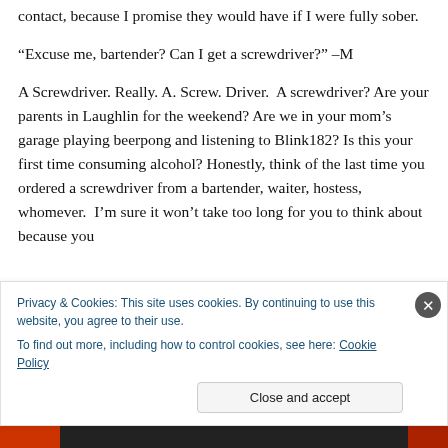contact, because I promise they would have if I were fully sober.
“Excuse me, bartender? Can I get a screwdriver?” –M
A Screwdriver. Really. A. Screw. Driver.  A screwdriver? Are your parents in Laughlin for the weekend? Are we in your mom’s garage playing beerpong and listening to Blink182? Is this your first time consuming alcohol? Honestly, think of the last time you ordered a screwdriver from a bartender, waiter, hostess, whomever.  I’m sure it won’t take too long for you to think about because you
Privacy & Cookies: This site uses cookies. By continuing to use this website, you agree to their use.
To find out more, including how to control cookies, see here: Cookie Policy
Close and accept